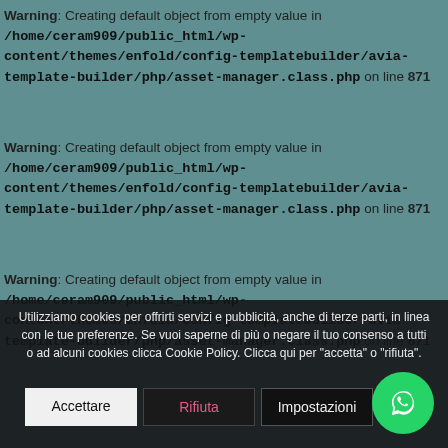Warning: Creating default object from empty value in /home/ceram909/public_html/wp-content/themes/enfold/config-templatebuilder/avia-template-builder/php/asset-manager.class.php on line 871
Warning: Creating default object from empty value in /home/ceram909/public_html/wp-content/themes/enfold/config-templatebuilder/avia-template-builder/php/asset-manager.class.php on line 871
Warning: Creating default object from empty value in /home/ceram909/public_html/wp-content/themes/enfold/config-templatebuilder/avia-template-builder/php/asset-manager.class.php on line 871
Utilizziamo cookies per offrirti servizi e pubblicità, anche di terze parti, in linea con le tue preferenze. Se vuoi saperne di più o negare il tuo consenso a tutti o ad alcuni cookies clicca Cookie Policy. Clicca qui per "accetta" o "rifiuta".